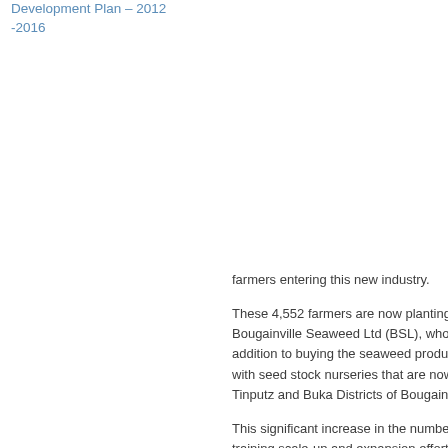Development Plan – 2012-2016
farmers entering this new industry.
These 4,552 farmers are now planting seaweed for Bougainville Seaweed Ltd (BSL), who export... In addition to buying the seaweed produced by... with seed stock nurseries that are now established in Tinputz and Buka Districts of Bougainville.
This significant increase in the number of farmers... training scale-up and expansion efforts being...